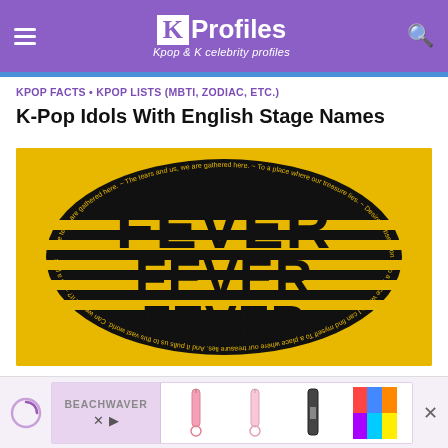KProfiles – Kpop & K celebrity profiles
KPOP FACTS · KPOP LISTS (MBTI, ZODIAC, ETC.)
K-Pop Idols With English Stage Names
[Figure (photo): Yellow background with large bold typographic FEVER text arranged in an oval/ellipse shape with circular text around the border, black on yellow, ENHYPEN Fever album art style]
KPOP ALBUMS
[Figure (infographic): Advertisement banner for BEACHWAVER showing hair styling tools including curling wands and straighteners on a pink/white background with colorful image at right]